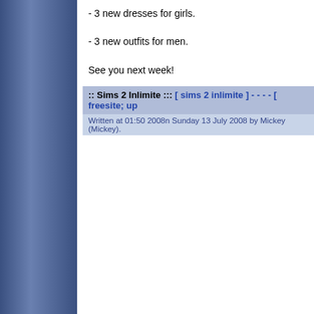- 3 new dresses for girls.
- 3 new outfits for men.
See you next week!
:: Sims 2 Inlimite ::: [ sims 2 inlimite ] - - - - [ freesite; up
Written at 01:50 2008n Sunday 13 July 2008 by Mickey (Mickey).
BlackyÂ´s Sims2 Zoo: Our Update from 13.07.08 to 15.0
Written at 23:43 2008n Monday 14 July 2008 by Blacky (blackypanthe